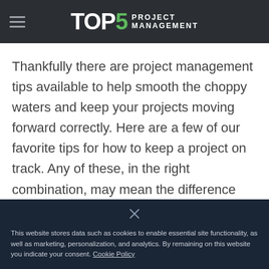TOP5 PROJECT MANAGEMENT
Thankfully there are project management tips available to help smooth the choppy waters and keep your projects moving forward correctly. Here are a few of our favorite tips for how to keep a project on track. Any of these, in the right combination, may mean the difference between project success and a project getting torn apart.
This website stores data such as cookies to enable essential site functionality, as well as marketing, personalization, and analytics. By remaining on this website you indicate your consent. Cookie Policy